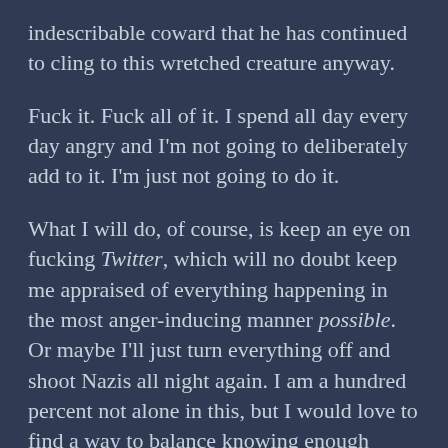indescribable coward that he has continued to cling to this wretched creature anyway.
Fuck it. Fuck all of it. I spend all day every day angry and I'm not going to deliberately add to it. I'm just not going to do it.
What I will do, of course, is keep an eye on fucking Twitter, which will no doubt keep me appraised of everything happening in the most anger-inducing manner possible. Or maybe I'll just turn everything off and shoot Nazis all night again. I am a hundred percent not alone in this, but I would love to find a way to balance knowing enough about what is going on in the world to be able to consider myself an informed citizen with shutting off the absolute